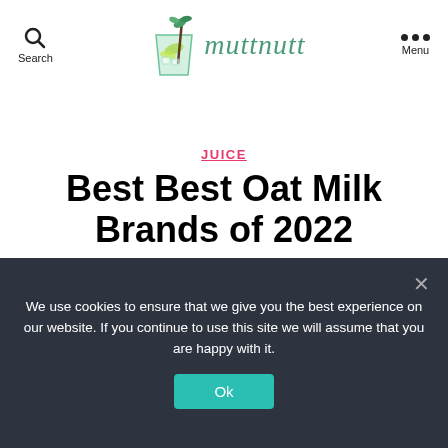Search | muttnutt | Menu
JUICE
Best Best Oat Milk Brands of 2022
By admin  February 12, 2022  No Comments
We use cookies to ensure that we give you the best experience on our website. If you continue to use this site we will assume that you are happy with it.